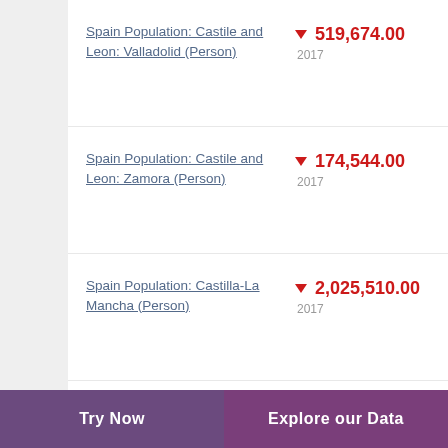Spain Population: Castile and Leon: Valladolid (Person)
Spain Population: Castile and Leon: Zamora (Person)
Spain Population: Castilla-La Mancha (Person)
Spain Population: Castilla-La Mancha: Albacete (Person)
Try Now   Explore our Data